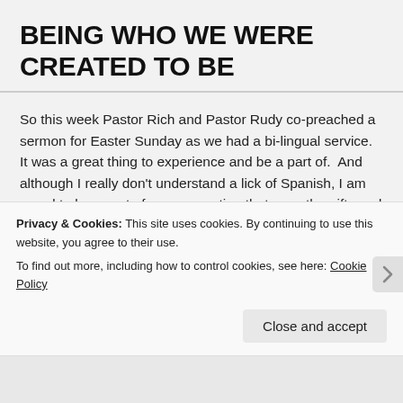BEING WHO WE WERE CREATED TO BE
So this week Pastor Rich and Pastor Rudy co-preached a sermon for Easter Sunday as we had a bi-lingual service.  It was a great thing to experience and be a part of.  And although I really don't understand a lick of Spanish, I am proud to be a part of a congregation that uses the gifts and talents of its people and is trying to reach out more than one people
Privacy & Cookies: This site uses cookies. By continuing to use this website, you agree to their use.
To find out more, including how to control cookies, see here: Cookie Policy
Close and accept